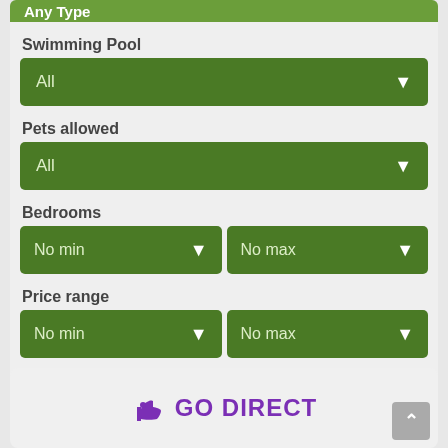[Figure (screenshot): Top green bar partially visible — Any Type dropdown]
Swimming Pool
[Figure (screenshot): Green dropdown button labeled All with chevron]
Pets allowed
[Figure (screenshot): Green dropdown button labeled All with chevron]
Bedrooms
[Figure (screenshot): Two green dropdown buttons: No min and No max]
Price range
[Figure (screenshot): Two green dropdown buttons: No min and No max]
[Figure (screenshot): Dark green SEARCH >>> button]
GO DIRECT